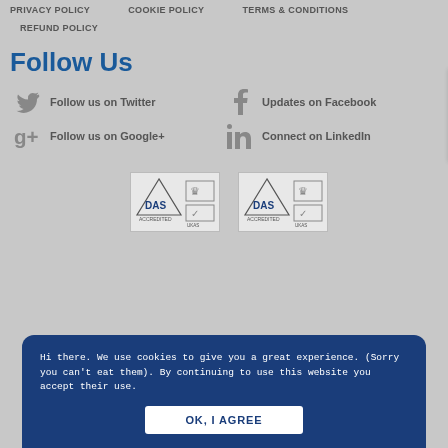PRIVACY POLICY
COOKIE POLICY
TERMS & CONDITIONS
REFUND POLICY
Follow Us
Follow us on Twitter
Updates on Facebook
Follow us on Google+
Connect on LinkedIn
[Figure (logo): DAS/UKAS accreditation badge logos (two sets visible)]
Hi there. We use cookies to give you a great experience. (Sorry you can't eat them). By continuing to use this website you accept their use.
OK, I AGREE